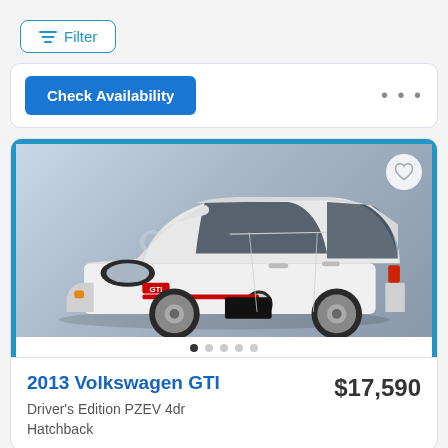Filter
Check Availability
[Figure (photo): White 2013 Volkswagen GTI hatchback on a grey studio background, front three-quarter view, with Carvana watermark]
2013 Volkswagen GTI
$17,590
Driver's Edition PZEV 4dr Hatchback